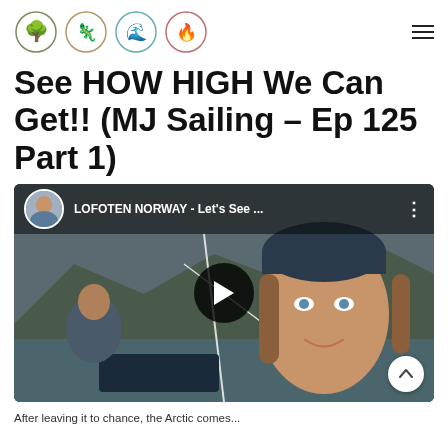[Logo icons: tree, animal/lizard, wave/sailfish, flame] [Hamburger menu]
See HOW HIGH We Can Get!! (MJ Sailing – Ep 125 Part 1)
[Figure (screenshot): Embedded YouTube video thumbnail showing a woman on a sailboat in Lofoten Norway, with channel avatar and title 'LOFOTEN NORWAY - Let's See ...' in overlay bar, and a play button in the center.]
After leaving it to chance, the Arctic comes...